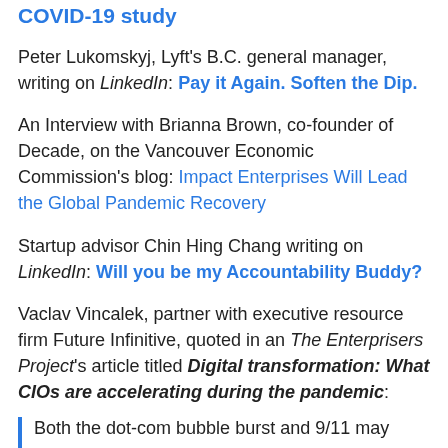COVID-19 study
Peter Lukomskyj, Lyft's B.C. general manager, writing on LinkedIn: Pay it Again. Soften the Dip.
An Interview with Brianna Brown, co-founder of Decade, on the Vancouver Economic Commission's blog: Impact Enterprises Will Lead the Global Pandemic Recovery
Startup advisor Chin Hing Chang writing on LinkedIn: Will you be my Accountability Buddy?
Vaclav Vincalek, partner with executive resource firm Future Infinitive, quoted in an The Enterprisers Project's article titled Digital transformation: What CIOs are accelerating during the pandemic:
Both the dot-com bubble burst and 9/11 may seem